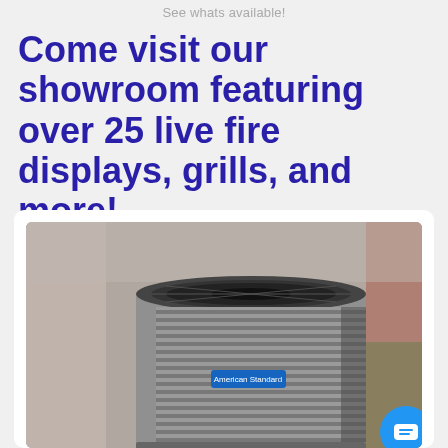See whats available!
Come visit our showroom featuring over 25 live fire displays, grills, and more!
[Figure (photo): An outdoor central air conditioning unit (heat pump/AC condenser) with a circular top grille, metallic grey casing with horizontal slats, and a blue brand label on the front, photographed against a blurred outdoor background. A blue circular chat button is overlaid in the bottom right corner.]